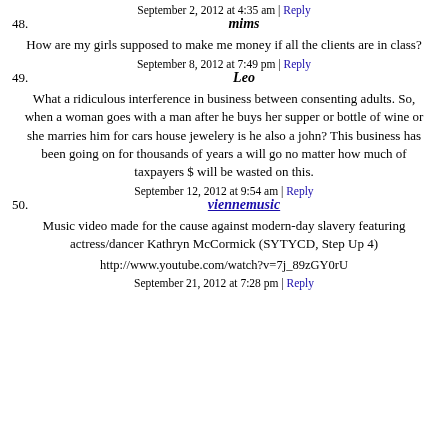48. mims
September 2, 2012 at 4:35 am | Reply
How are my girls supposed to make me money if all the clients are in class?
49. Leo
September 8, 2012 at 7:49 pm | Reply
What a ridiculous interference in business between consenting adults. So, when a woman goes with a man after he buys her supper or bottle of wine or she marries him for cars house jewelery is he also a john? This business has been going on for thousands of years a will go no matter how much of taxpayers $ will be wasted on this.
50. viennemusic
September 12, 2012 at 9:54 am | Reply
Music video made for the cause against modern-day slavery featuring actress/dancer Kathryn McCormick (SYTYCD, Step Up 4)
http://www.youtube.com/watch?v=7j_89zGY0rU
September 21, 2012 at 7:28 pm | Reply